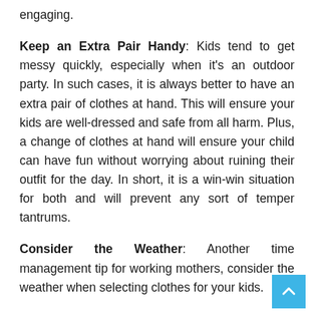engaging.
Keep an Extra Pair Handy: Kids tend to get messy quickly, especially when it's an outdoor party. In such cases, it is always better to have an extra pair of clothes at hand. This will ensure your kids are well-dressed and safe from all harm. Plus, a change of clothes at hand will ensure your child can have fun without worrying about ruining their outfit for the day. In short, it is a win-win situation for both and will prevent any sort of temper tantrums.
Consider the Weather: Another time management tip for working mothers, consider the weather when selecting clothes for your kids.